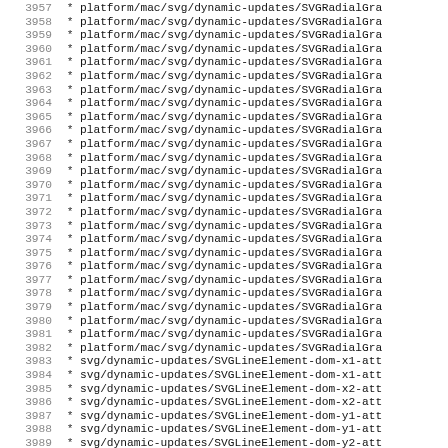Code listing lines 3957-3988+, showing file paths for platform/mac/svg/dynamic-updates/SVGRadialGra... and svg/dynamic-updates/SVGLineElement-dom-x1-att, x2-att, y1-att, y2-att entries